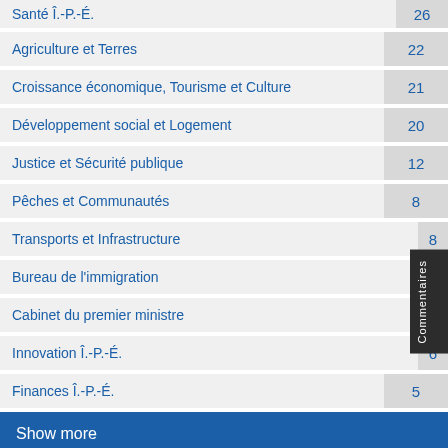Santé Î.-P.-É. 26
Agriculture et Terres 22
Croissance économique, Tourisme et Culture 21
Développement social et Logement 20
Justice et Sécurité publique 12
Pêches et Communautés 8
Transports et Infrastructure 8
Bureau de l'immigration 6
Cabinet du premier ministre 6
Innovation Î.-P.-É. 6
Finances Î.-P.-É. 5
Show more